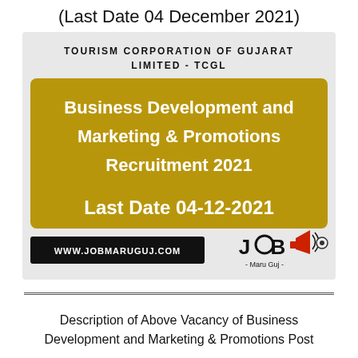(Last Date 04 December 2021)
[Figure (infographic): Job advertisement card for Tourism Corporation of Gujarat Limited - TCGL showing Business Development and Marketing & Promotions Recruitment 2021 with last date 04-12-2021 and website www.jobmaruguj.com with Job Maru Guj logo]
Description of Above Vacancy of Business Development and Marketing & Promotions Post